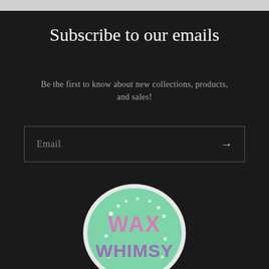Subscribe to our emails
Be the first to know about new collections, products, and sales!
[Figure (other): Email subscription input field with placeholder text 'Email' and a right-arrow submit button, dark background with light border]
[Figure (logo): Wax Whimsy logo: circular mint/green badge with white border, 'WAX' in pink and 'WHIMSY' in purple decorative lettering, white polka dots on green background]